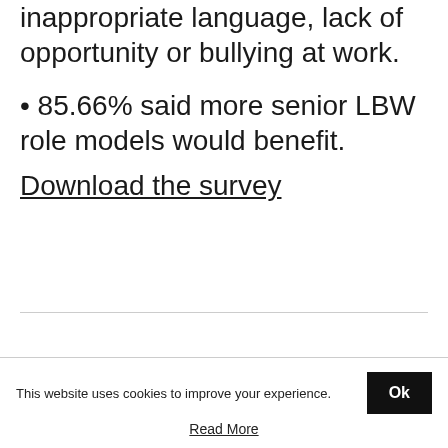inappropriate language, lack of opportunity or bullying at work.
• 85.66% said more senior LBW role models would benefit.
Download the survey
This website uses cookies to improve your experience.
Ok
Read More